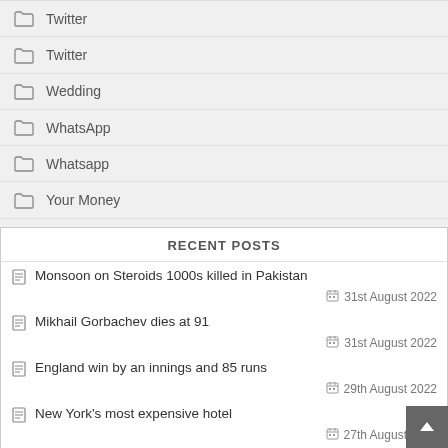Twitter
Twitter
Wedding
WhatsApp
Whatsapp
Your Money
RECENT POSTS
Monsoon on Steroids 1000s killed in Pakistan — 31st August 2022
Mikhail Gorbachev dies at 91 — 31st August 2022
England win by an innings and 85 runs — 29th August 2022
New York's most expensive hotel — 27th August 2022
Oil: Pernicious influence on human history — 27th August 2022
Indian's complex relationships with America and China — 27th August 2022